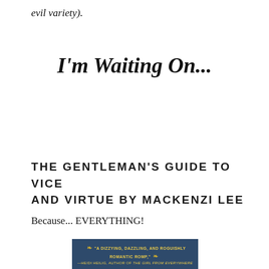evil variety).
I'm Waiting On...
THE GENTLEMAN'S GUIDE TO VICE AND VIRTUE BY MACKENZI LEE
Because... EVERYTHING!
[Figure (photo): Blue book cover with gold text reading: 'A DIZZYING, DAZZLING, AND ROGUISHLY ROMANTIC ROMP,' - HEIDI HEILIG, AUTHOR OF THE GIRL FROM EVERYWHERE]